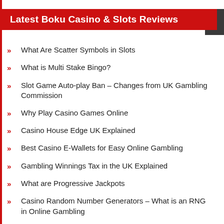Latest Boku Casino & Slots Reviews
What Are Scatter Symbols in Slots
What is Multi Stake Bingo?
Slot Game Auto-play Ban – Changes from UK Gambling Commission
Why Play Casino Games Online
Casino House Edge UK Explained
Best Casino E-Wallets for Easy Online Gambling
Gambling Winnings Tax in the UK Explained
What are Progressive Jackpots
Casino Random Number Generators – What is an RNG in Online Gambling
How to Open a New Online Casino Account UK